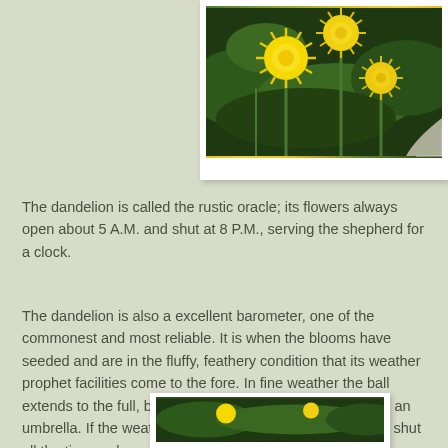[Figure (photo): Close-up photograph of yellow dandelion flowers with green stems and leaves, shown in a white polaroid-style frame with curled bottom-right corner]
The dandelion is called the rustic oracle; its flowers always open about 5 A.M. and shut at 8 P.M., serving the shepherd for a clock.
The dandelion is also a excellent barometer, one of the commonest and most reliable. It is when the blooms have seeded and are in the fluffy, feathery condition that its weather prophet facilities come to the fore. In fine weather the ball extends to the full, but when rain approaches, it shuts like an umbrella. If the weather is inclined to be showery it keeps shut all the time, only opening when the danger from the wet is past.
[Figure (photo): Partial view of another photograph of dandelions, shown at bottom of page in white frame]